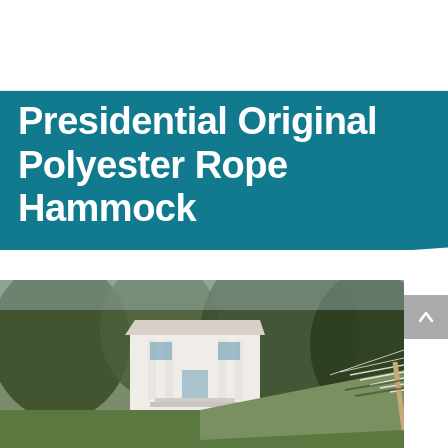[Figure (logo): TMS Contract Inspired Performance circular logo with orange sun, teal waves, and birds]
Presidential Original Polyester Rope Hammock
[Figure (photo): Outdoor scene showing a hammock in foreground with a white Southern-style plantation house and large trees in the background on a green lawn]